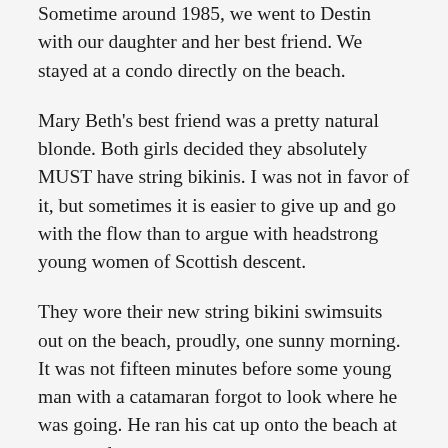Sometime around 1985, we went to Destin with our daughter and her best friend. We stayed at a condo directly on the beach.
Mary Beth's best friend was a pretty natural blonde. Both girls decided they absolutely MUST have string bikinis. I was not in favor of it, but sometimes it is easier to give up and go with the flow than to argue with headstrong young women of Scottish descent.
They wore their new string bikini swimsuits out on the beach, proudly, one sunny morning. It was not fifteen minutes before some young man with a catamaran forgot to look where he was going. He ran his cat up onto the beach at top speed.
I have pictures, but they were taken with the film camera, and are in storage. However, her picture along about that time is in the story I wrote about her last fall. It is easy to see why the guy nearly wrecked his boat.